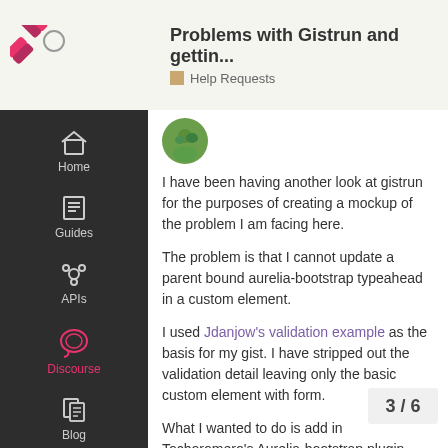Problems with Gistrun and gettin... | Help Requests
[Figure (logo): Aurelia/Discourse logo mark in pink/red with a circle]
I have been having another look at gistrun for the purposes of creating a mockup of the problem I am facing here.
The problem is that I cannot update a parent bound aurelia-bootstrap typeahead in a custom element.
I used Jdanjow's validation example as the basis for my gist. I have stripped out the validation detail leaving only the basic custom element with form.
What I wanted to do is add in Tochoromero's Aurelia-bootstrap plugin. Thing is I clearly dont know how to do this.
3 / 6